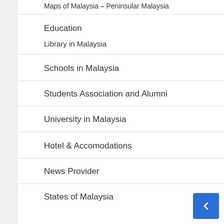Maps of Malaysia – Peninsular Malaysia
Education
Library in Malaysia
Schools in Malaysia
Students Association and Alumni
University in Malaysia
Hotel & Accomodations
News Provider
States of Malaysia